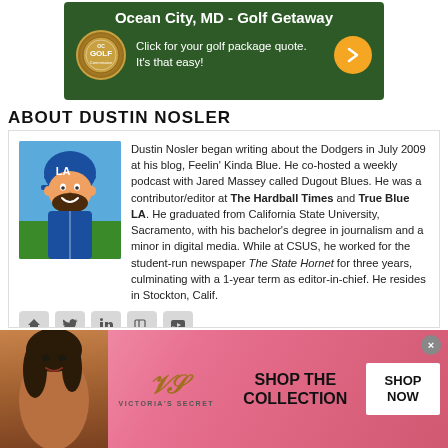[Figure (infographic): Ocean City MD Golf Getaway advertisement banner with dark green background, OC Golf logo, text 'Click for your golf package quote. It's that easy!' and orange arrow button]
ABOUT DUSTIN NOSLER
Dustin Nosler began writing about the Dodgers in July 2009 at his blog, Feelin' Kinda Blue. He co-hosted a weekly podcast with Jared Massey called Dugout Blues. He was a contributor/editor at The Hardball Times and True Blue LA. He graduated from California State University, Sacramento, with his bachelor's degree in journalism and a minor in digital media. While at CSUS, he worked for the student-run newspaper The State Hornet for three years, culminating with a 1-year term as editor-in-chief. He resides in Stockton, Calif.
[Figure (infographic): Victoria's Secret advertisement with pink gradient background, woman's photo on left, VS logo in center, 'SHOP THE COLLECTION' text, and 'SHOP NOW' white button on right]